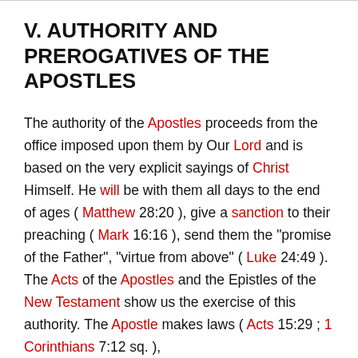V. AUTHORITY AND PREROGATIVES OF THE APOSTLES
The authority of the Apostles proceeds from the office imposed upon them by Our Lord and is based on the very explicit sayings of Christ Himself. He will be with them all days to the end of ages ( Matthew 28:20 ), give a sanction to their preaching ( Mark 16:16 ), send them the "promise of the Father", "virtue from above" ( Luke 24:49 ). The Acts of the Apostles and the Epistles of the New Testament show us the exercise of this authority. The Apostle makes laws ( Acts 15:29 ; 1 Corinthians 7:12 sq. ), teaches ( Acts 2:37 and following ), claims for his in-